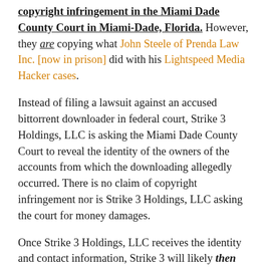copyright infringement in the Miami Dade County Court in Miami-Dade, Florida. However, they are copying what John Steele of Prenda Law Inc. [now in prison] did with his Lightspeed Media Hacker cases.
Instead of filing a lawsuit against an accused bittorrent downloader in federal court, Strike 3 Holdings, LLC is asking the Miami Dade County Court to reveal the identity of the owners of the accounts from which the downloading allegedly occurred. There is no claim of copyright infringement nor is Strike 3 Holdings, LLC asking the court for money damages.
Once Strike 3 Holdings, LLC receives the identity and contact information, Strike 3 will likely then threaten a copyright infringement lawsuit in federal court if that defendant does not settle the claims against them by paying them settlement money to the tune of thousands